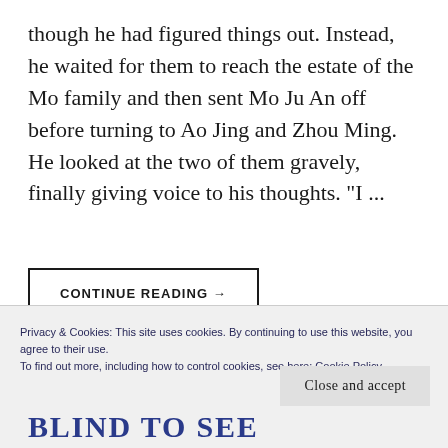though he had figured things out. Instead, he waited for them to reach the estate of the Mo family and then sent Mo Ju An off before turning to Ao Jing and Zhou Ming. He looked at the two of them gravely, finally giving voice to his thoughts. "I ...
CONTINUE READING →
Privacy & Cookies: This site uses cookies. By continuing to use this website, you agree to their use.
To find out more, including how to control cookies, see here: Cookie Policy
Close and accept
BLIND TO SEE